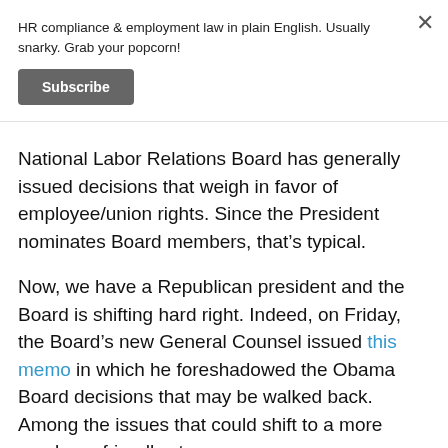HR compliance & employment law in plain English. Usually snarky. Grab your popcorn!
Subscribe
National Labor Relations Board has generally issued decisions that weigh in favor of employee/union rights. Since the President nominates Board members, that’s typical.
Now, we have a Republican president and the Board is shifting hard right. Indeed, on Friday, the Board’s new General Counsel issued this memo in which he foreshadowed the Obama Board decisions that may be walked back. Among the issues that could shift to a more employer-friendly stance: